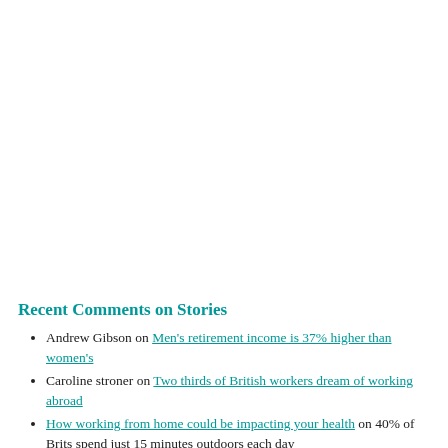Recent Comments on Stories
Andrew Gibson on Men's retirement income is 37% higher than women's
Caroline stroner on Two thirds of British workers dream of working abroad
How working from home could be impacting your health on 40% of Brits spend just 15 minutes outdoors each day